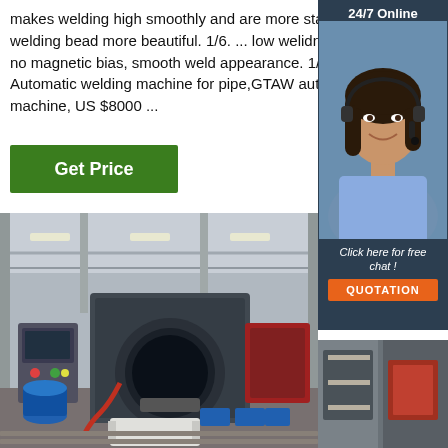makes welding high smoothly and are more stable and welding bead more beautiful. 1/6. ... low welidng spatter, no magnetic bias, smooth weld appearance. 1/6. Automatic welding machine for pipe,GTAW auto machine, US $8000 ...
[Figure (other): Green 'Get Price' button]
[Figure (other): Sidebar with '24/7 Online' header, photo of a smiling woman with headset, 'Click here for free chat!' text, and orange 'QUOTATION' button on dark blue background]
[Figure (photo): Industrial factory floor showing a large pipe welding machine (GTAW/TIG automatic pipe welding machine) in an industrial facility with ceiling lights, red and blue equipment visible in background]